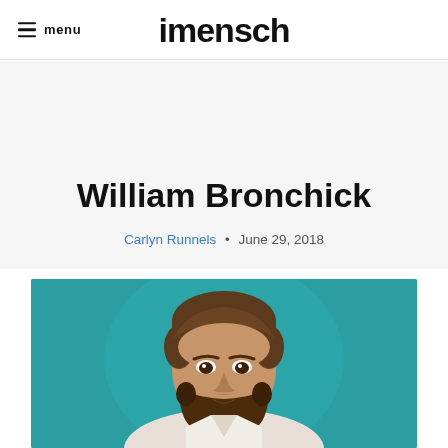≡ menu   imensch
William Bronchick
Carlyn Runnels • June 29, 2018
[Figure (photo): Portrait photo of William Bronchick, a bearded man, against a teal/turquoise background]